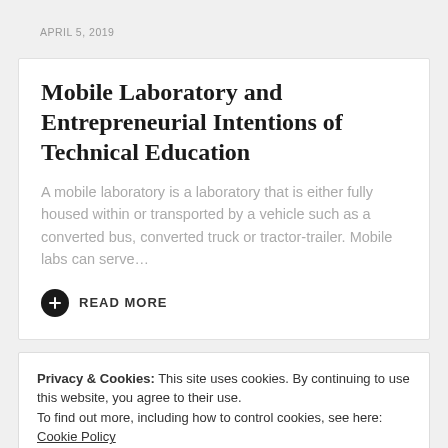APRIL 5, 2019
Mobile Laboratory and Entrepreneurial Intentions of Technical Education
A mobile laboratory is a laboratory that is either fully housed within or transported by a vehicle such as a converted bus, converted truck or tractor-trailer. Mobile labs can serve…
READ MORE
Privacy & Cookies: This site uses cookies. By continuing to use this website, you agree to their use.
To find out more, including how to control cookies, see here: Cookie Policy
close and accept